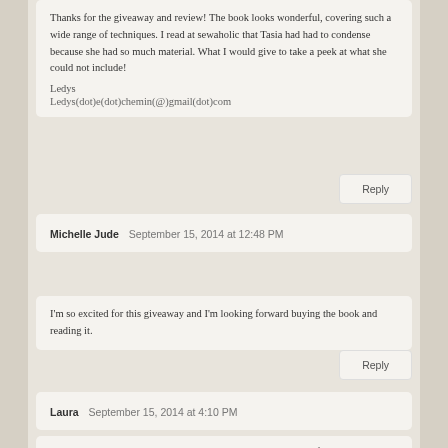Thanks for the giveaway and review! The book looks wonderful, covering such a wide range of techniques. I read at sewaholic that Tasia had had to condense because she had so much material. What I would give to take a peek at what she could not include!
Ledys
Ledys(dot)e(dot)chemin(@)gmail(dot)com
Reply
Michelle Jude  September 15, 2014 at 12:48 PM
I'm so excited for this giveaway and I'm looking forward buying the book and reading it.
Reply
Laura  September 15, 2014 at 4:10 PM
Looks like a great book! And I've had my eye on the saltspring for a while. I'd love to make a few of those ;).